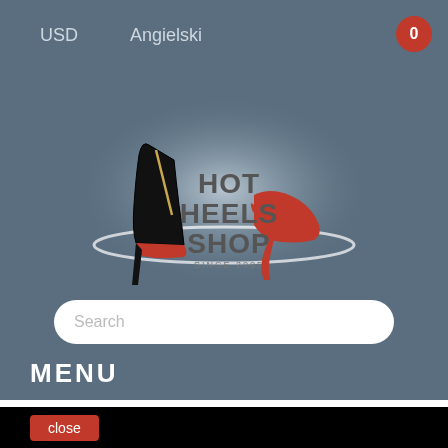USD
Angielski
0
[Figure (logo): Hot Heels Shop logo with high-heel shoes illustration and text 'HOT HEELS SHOP SINCE 2005']
Search
MENU
close